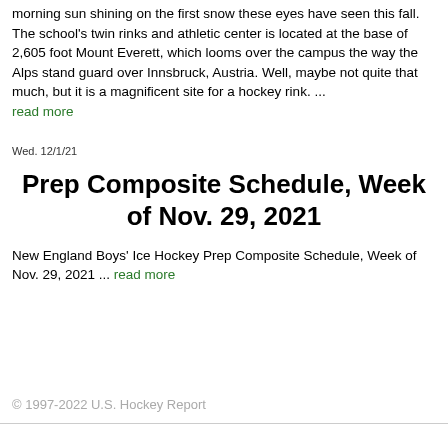morning sun shining on the first snow these eyes have seen this fall. The school's twin rinks and athletic center is located at the base of 2,605 foot Mount Everett, which looms over the campus the way the Alps stand guard over Innsbruck, Austria. Well, maybe not quite that much, but it is a magnificent site for a hockey rink. ... read more
Wed. 12/1/21
Prep Composite Schedule, Week of Nov. 29, 2021
New England Boys' Ice Hockey Prep Composite Schedule, Week of Nov. 29, 2021 ... read more
© 1997-2022 U.S. Hockey Report